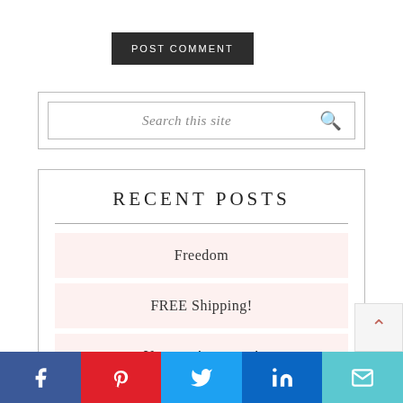[Figure (other): POST COMMENT button — dark grey/black rectangle with white uppercase text]
[Figure (other): Search box with italic placeholder text 'Search this site' and a magnifying glass icon]
RECENT POSTS
Freedom
FREE Shipping!
You are Awesome!
[Figure (other): Social share buttons bar: Facebook (blue), Pinterest (red), Twitter (light blue), LinkedIn (dark blue), Email (teal)]